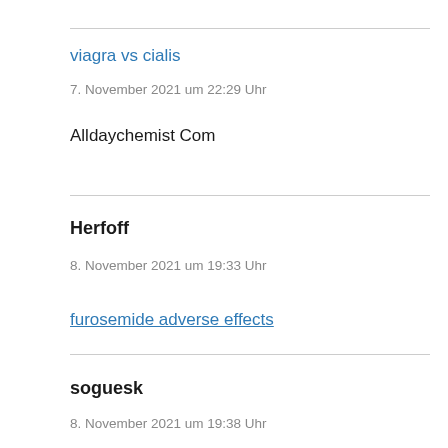viagra vs cialis
7. November 2021 um 22:29 Uhr
Alldaychemist Com
Herfoff
8. November 2021 um 19:33 Uhr
furosemide adverse effects
soguesk
8. November 2021 um 19:38 Uhr